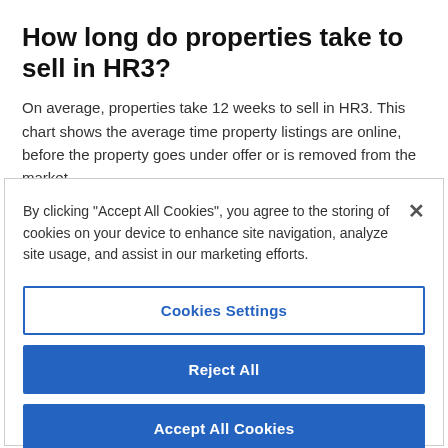How long do properties take to sell in HR3?
On average, properties take 12 weeks to sell in HR3. This chart shows the average time property listings are online, before the property goes under offer or is removed from the market.
By clicking "Accept All Cookies", you agree to the storing of cookies on your device to enhance site navigation, analyze site usage, and assist in our marketing efforts.
Cookies Settings
Reject All
Accept All Cookies